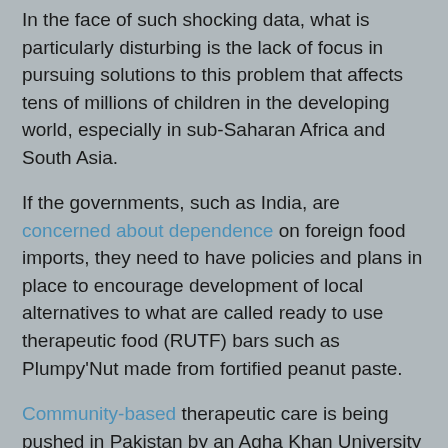In the face of such shocking data, what is particularly disturbing is the lack of focus in pursuing solutions to this problem that affects tens of millions of children in the developing world, especially in sub-Saharan Africa and South Asia.
If the governments, such as India, are concerned about dependence on foreign food imports, they need to have policies and plans in place to encourage development of local alternatives to what are called ready to use therapeutic food (RUTF) bars such as Plumpy'Nut made from fortified peanut paste.
Community-based therapeutic care is being pushed in Pakistan by an Agha Khan University project. It is an attempt to maximize broad impact through improved coverage, access, and cost-effectiveness of treatment for malnutrition. Such community-based nutrition packages can provide effective care to the majority of acutely malnourished children as outpatients, using techniques of community mobilization to engage the affected population and maximize coverage and compliance. Children with SAM without